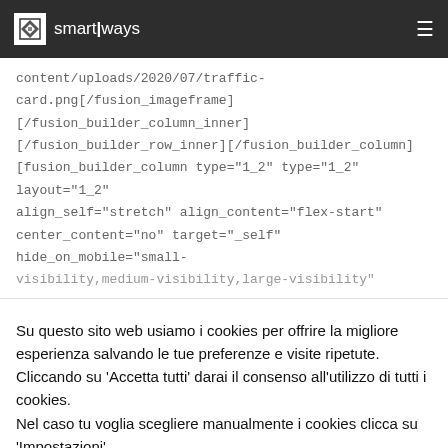smartlways (logo with hamburger menu)
content/uploads/2020/07/traffic-card.png[/fusion_imageframe] [/fusion_builder_column_inner] [/fusion_builder_row_inner][/fusion_builder_column] [fusion_builder_column type="1_2" type="1_2" layout="1_2" align_self="stretch" align_content="flex-start" center_content="no" target="_self" hide_on_mobile="small-visibility,medium-visibility,large-visibility"
Su questo sito web usiamo i cookies per offrire la migliore esperienza salvando le tue preferenze e visite ripetute. Cliccando su 'Accetta tutti' darai il consenso all'utilizzo di tutti i cookies.
Nel caso tu voglia scegliere manualmente i cookies clicca su 'Impostazioni'.
Impostazioni
Accetta tutti